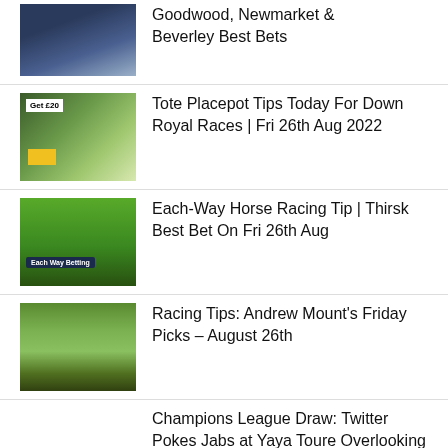Goodwood, Newmarket & Beverley Best Bets
Tote Placepot Tips Today For Down Royal Races | Fri 26th Aug 2022
Each-Way Horse Racing Tip | Thirsk Best Bet On Fri 26th Aug
Racing Tips: Andrew Mount's Friday Picks – August 26th
Champions League Draw: Twitter Pokes Jabs at Yaya Toure Overlooking Agent's Curse on Man City